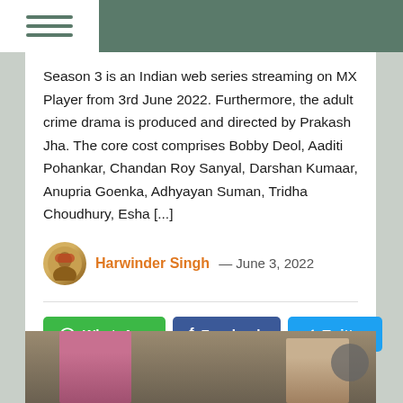Navigation menu header bar
Season 3 is an Indian web series streaming on MX Player from 3rd June 2022. Furthermore, the adult crime drama is produced and directed by Prakash Jha. The core cost comprises Bobby Deol, Aaditi Pohankar, Chandan Roy Sanyal, Darshan Kumaar, Anupria Goenka, Adhyayan Suman, Tridha Choudhury, Esha [...]
Harwinder Singh — June 3, 2022
[Figure (photo): Photo of two women, one wearing a pink headscarf, in a scene from the web series]
[Figure (other): Social share buttons: WhatsApp, Facebook, Twitter]